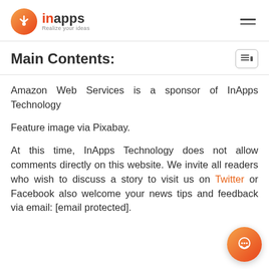inApps — Realize your ideas
Main Contents:
Amazon Web Services is a sponsor of InApps Technology
Feature image via Pixabay.
At this time, InApps Technology does not allow comments directly on this website. We invite all readers who wish to discuss a story to visit us on Twitter or Facebook also welcome your news tips and feedback via email: [email protected].